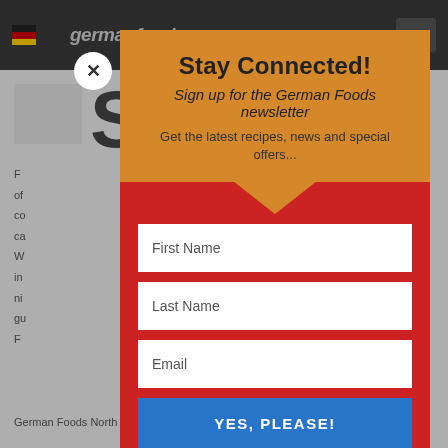[Figure (screenshot): Background website page showing germanfoods.com header with logo and menu button, partial article text with large letter 'S', and body text about German Foods North America being an independent blogger.]
Stay Connected!
Sign up for the German Foods newsletter
Get the latest recipes, news and special offers...
First Name
Last Name
Email
YES, PLEASE!
German Foods North America, is an independent blogger,